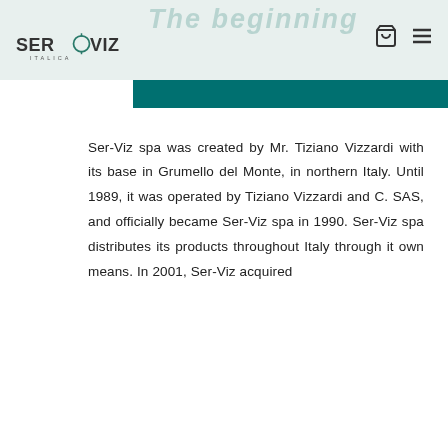The beginning
[Figure (logo): Ser-Viz Italica company logo]
Ser-Viz spa was created by Mr. Tiziano Vizzardi with its base in Grumello del Monte, in northern Italy. Until 1989, it was operated by Tiziano Vizzardi and C. SAS, and officially became Ser-Viz spa in 1990. Ser-Viz spa distributes its products throughout Italy through it own means. In 2001, Ser-Viz acquired